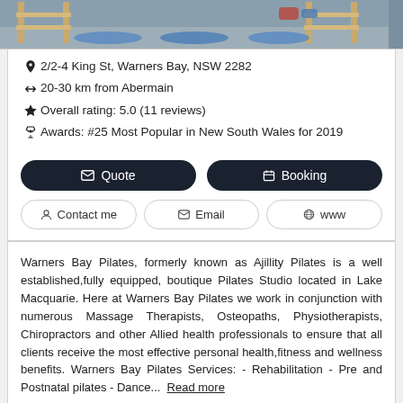[Figure (photo): Interior photo of a Pilates studio showing wooden bunk-style equipment frames, blue mats/bolsters on the floor, grey floor.]
2/2-4 King St, Warners Bay, NSW 2282
20-30 km from Abermain
Overall rating: 5.0 (11 reviews)
Awards: #25 Most Popular in New South Wales for 2019
Quote
Booking
Contact me
Email
www
Warners Bay Pilates, formerly known as Ajillity Pilates is a well established,fully equipped, boutique Pilates Studio located in Lake Macquarie. Here at Warners Bay Pilates we work in conjunction with numerous Massage Therapists, Osteopaths, Physiotherapists, Chiropractors and other Allied health professionals to ensure that all clients receive the most effective personal health,fitness and wellness benefits. Warners Bay Pilates Services: - Rehabilitation - Pre and Postnatal pilates - Dance...  Read more